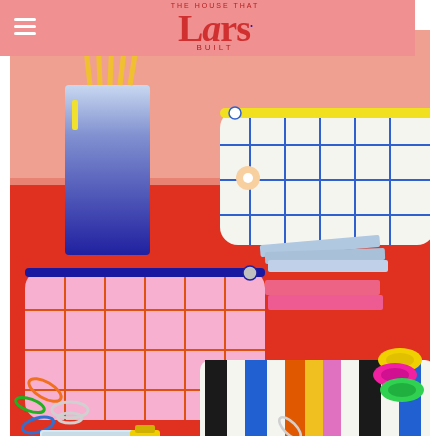THE HOUSE THAT Lars BUILT
[Figure (photo): Colorful pencil pouches/zipper bags on a red surface: a white grid-patterned pouch with blue lines and yellow zipper, a pink grid pouch with orange lines and blue zipper, a striped colorful pouch with black, blue, orange, yellow, pink and white vertical stripes. A blue ombre pencil/pen holder with yellow pencils. Office supplies including paper clips, binder clips, sticky notes, and washi tape rolls scattered around.]